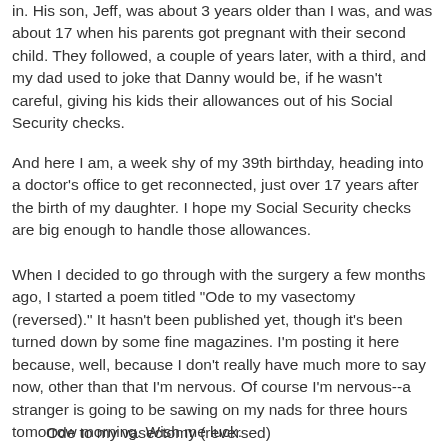in. His son, Jeff, was about 3 years older than I was, and was about 17 when his parents got pregnant with their second child. They followed, a couple of years later, with a third, and my dad used to joke that Danny would be, if he wasn't careful, giving his kids their allowances out of his Social Security checks.
And here I am, a week shy of my 39th birthday, heading into a doctor's office to get reconnected, just over 17 years after the birth of my daughter. I hope my Social Security checks are big enough to handle those allowances.
When I decided to go through with the surgery a few months ago, I started a poem titled "Ode to my vasectomy (reversed)." It hasn't been published yet, though it's been turned down by some fine magazines. I'm posting it here because, well, because I don't really have much more to say now, other than that I'm nervous. Of course I'm nervous--a stranger is going to be sawing on my nads for three hours tomorrow morning. Wish me luck.
Ode to my vasectomy (reversed)